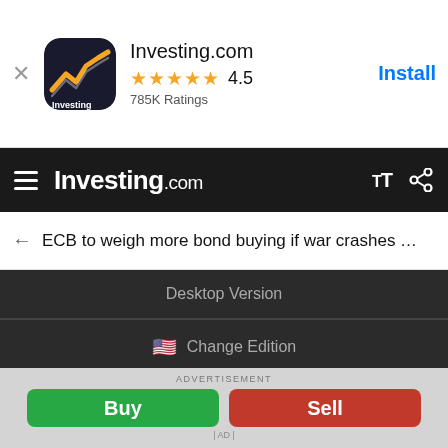[Figure (screenshot): Investing.com app banner with icon, 4.5 star rating, 785K Ratings, and Install button]
[Figure (screenshot): Investing.com navigation bar with hamburger menu, logo, text size and share icons]
ECB to weigh more bond buying if war crashes …
Desktop Version
Change Edition
Privacy & Disclaimer
Follow us
[Figure (screenshot): Facebook and Twitter social media icon buttons]
ADVERTISEMENT
[Figure (screenshot): Buy and Sell advertisement buttons]
| AD |